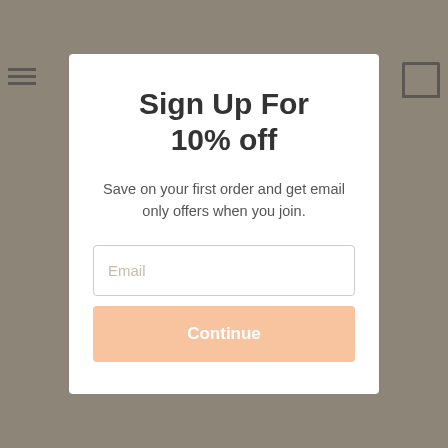[Figure (screenshot): Blurred/dimmed website background showing a navigation bar with hamburger menu and cart icon, and product images below]
Sign Up For 10% off
Save on your first order and get email only offers when you join.
Email (input field placeholder)
Continue (button)